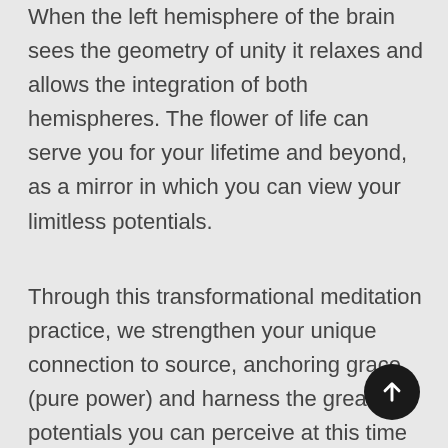When the left hemisphere of the brain sees the geometry of unity it relaxes and allows the integration of both hemispheres. The flower of life can serve you for your lifetime and beyond, as a mirror in which you can view your limitless potentials.
Through this transformational meditation practice, we strengthen your unique connection to source, anchoring grace (pure power) and harness the greatest potentials you can perceive at this time at a spirit level (beyond the minds limitations). Suitable both beginners and experienced seekers the meditations are channeled, that is there is no